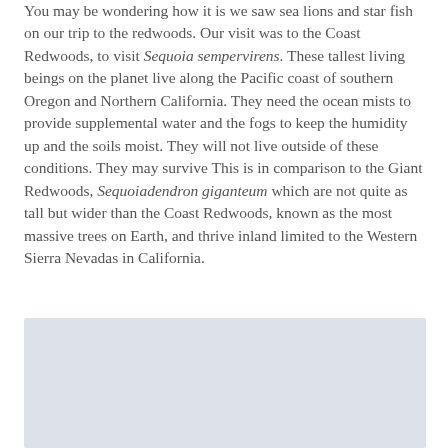You may be wondering how it is we saw sea lions and star fish on our trip to the redwoods. Our visit was to the Coast Redwoods, to visit Sequoia sempervirens. These tallest living beings on the planet live along the Pacific coast of southern Oregon and Northern California. They need the ocean mists to provide supplemental water and the fogs to keep the humidity up and the soils moist. They will not live outside of these conditions. They may survive This is in comparison to the Giant Redwoods, Sequoiadendron giganteum which are not quite as tall but wider than the Coast Redwoods, known as the most massive trees on Earth, and thrive inland limited to the Western Sierra Nevadas in California.
[Figure (photo): A photograph partially visible at the bottom of the page with a light blue-grey background, content not fully visible.]